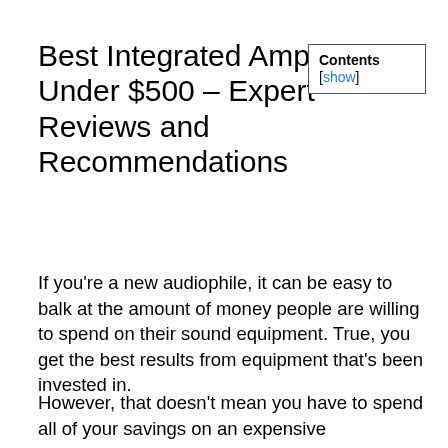Best Integrated Amp Under $500 – Expert Reviews and Recommendations
Contents [show]
If you're a new audiophile, it can be easy to balk at the amount of money people are willing to spend on their sound equipment. True, you get the best results from equipment that's been invested in.
However, that doesn't mean you have to spend all of your savings on an expensive